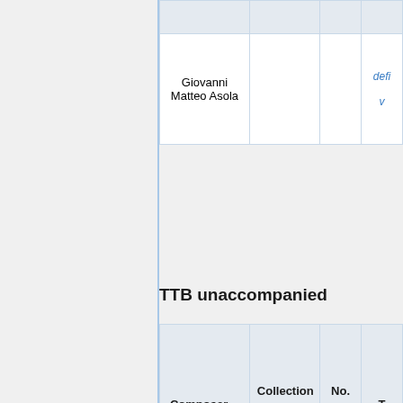| Composer | Collection | No. | T… |
| --- | --- | --- | --- |
|  |  |  |  |
| Giovanni Matteo Asola |  |  | defi… v… |
TTB unaccompanied
| Composer | Collection | No. | T… |
| --- | --- | --- | --- |
| Giovanni Matteo Asola |  |  | defi… v… |
| Giovanni Batti… |  |  | Offi… |